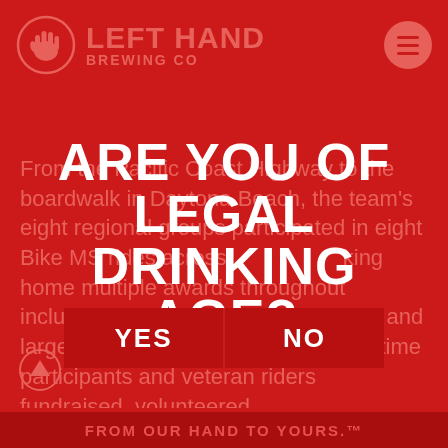[Figure (logo): Left Hand Brewing Co logo with hand icon in circle and text]
EVENTS  ABOUT  CRAFT NEWS  E-N
From the Pacific Coast Highway to the boardwalk in Daytona Beach, the team’s eight regional groups participated in eight Bike MS rides across … king home multiple awards throughout including top fundraising, best jersey, and largest team at multiple events. First time participants and veteran riders fundraised, volunteered,
ARE YOU OF LEGAL DRINKING AGE?
YES
NO
FROM OUR HAND TO YOURS.™